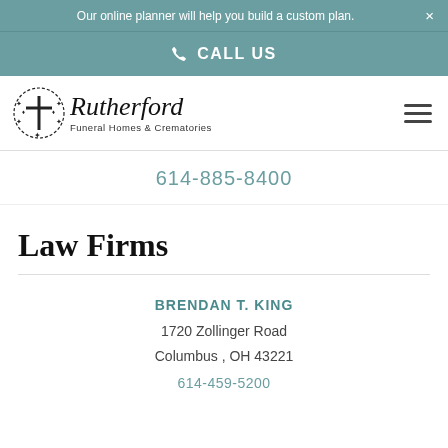Our online planner will help you build a custom plan.
CALL US
[Figure (logo): Rutherford Funeral Homes & Crematories logo with cross and floral wreath icon]
614-885-8400
Law Firms
BRENDAN T. KING
1720 Zollinger Road
Columbus , OH 43221
614-459-5200